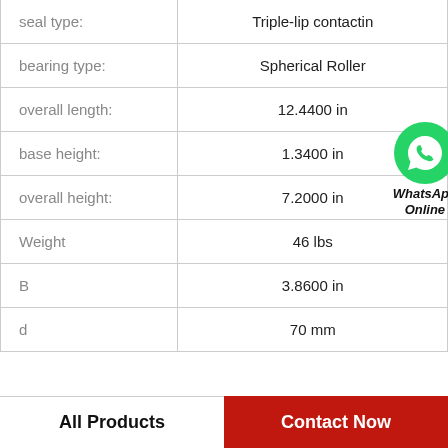| Property | Value |
| --- | --- |
| seal type: | Triple-lip contactin |
| bearing type: | Spherical Roller |
| overall length: | 12.4400 in |
| base height: | 1.3400 in |
| overall height: | 7.2000 in |
| Weight | 46 lbs |
| B | 3.8600 in |
| d | 70 mm |
[Figure (logo): WhatsApp Online badge with green phone icon and bold italic text 'WhatsApp Online']
All Products    Contact Now